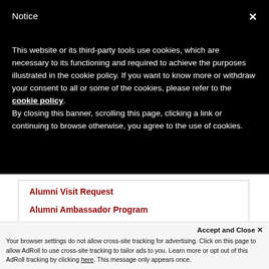Notice
This website or its third-party tools use cookies, which are necessary to its functioning and required to achieve the purposes illustrated in the cookie policy. If you want to know more or withdraw your consent to all or some of the cookies, please refer to the cookie policy.
By closing this banner, scrolling this page, clicking a link or continuing to browse otherwise, you agree to the use of cookies.
Alumni Visit Request
Alumni Ambassador Program
Accept and Close ×
Your browser settings do not allow cross-site tracking for advertising. Click on this page to allow AdRoll to use cross-site tracking to tailor ads to you. Learn more or opt out of this AdRoll tracking by clicking here. This message only appears once.